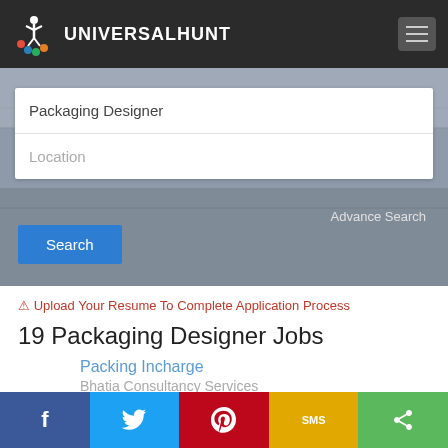UNIVERSALHUNT
[Figure (screenshot): Search interface with 'Packaging Designer' job search field and 'Location' field, with Search button and Advance Search link, over a gray warehouse background]
⚠ Upload Your Resume To Complete Application Process
19 Packaging Designer Jobs
Packing Incharge
Bhatia Consultancy Services
f  🐦  Pinterest  SMS  Share